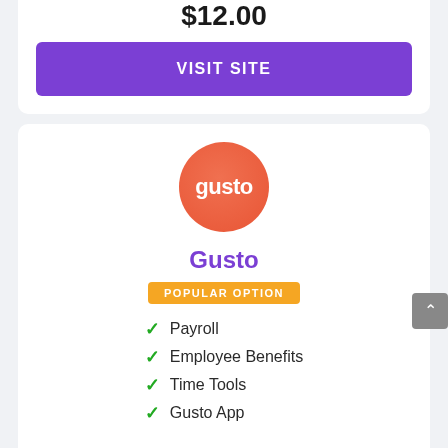$12.00
VISIT SITE
[Figure (logo): Gusto logo: orange/red circle with white text 'gusto']
Gusto
POPULAR OPTION
Payroll
Employee Benefits
Time Tools
Gusto App
$39